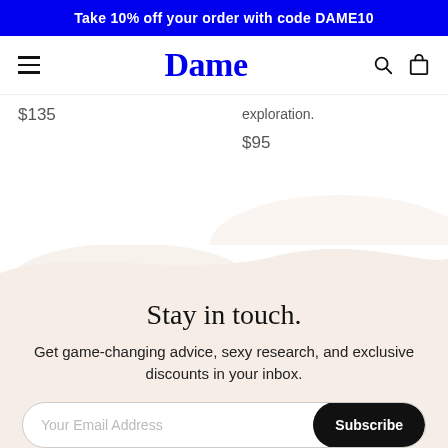Take 10% off your order with code DAME10
Dame
exploration.
$135
$95
Stay in touch.
Get game-changing advice, sexy research, and exclusive discounts in your inbox.
Your Email Address
Subscribe